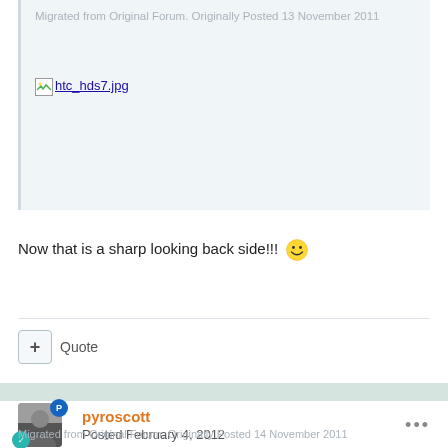Migrated from Original Forum. Originally Posted 13 November 2011
[Figure (other): Broken image placeholder with filename link: htc_hds7.jpg]
Now that is a sharp looking back side!!!
Quote
pyroscott
Posted February 4, 2012
Migrated from Original Forum. Originally Posted 14 November 2011